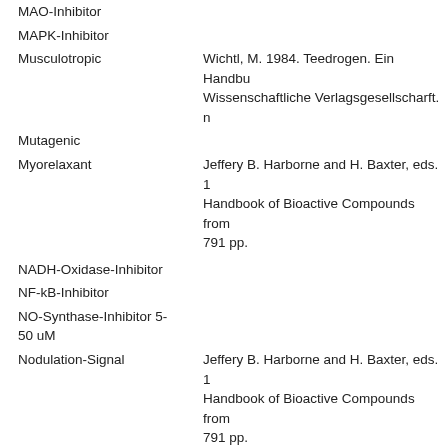MAO-Inhibitor
MAPK-Inhibitor
Musculotropic
Wichtl, M. 1984. Teedrogen. Ein Handbu Wissenschaftliche Verlagsgesellscharft. n
Mutagenic
Myorelaxant
Jeffery B. Harborne and H. Baxter, eds. 1 Handbook of Bioactive Compounds from 791 pp.
NADH-Oxidase-Inhibitor
NF-kB-Inhibitor
NO-Synthase-Inhibitor 5-50 uM
Nodulation-Signal
Jeffery B. Harborne and H. Baxter, eds. 1 Handbook of Bioactive Compounds from 791 pp.
Ornithine-Decarboxylase-Inhibitor
P21-Inducer 10-70 uM
PKC-Inhibitor IC50=10 uM
PTK-Inhibitor 10-100 uM
Pesticide